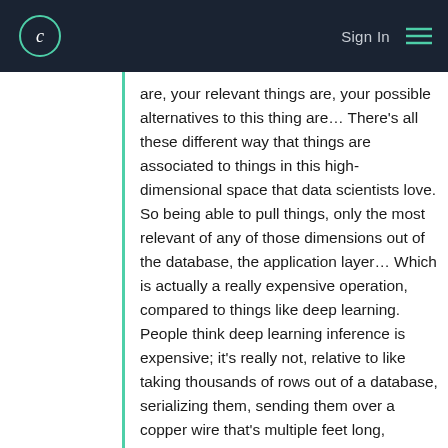Sign In | (menu)
are, your relevant things are, your possible alternatives to this thing are... There's all these different way that things are associated to things in this high-dimensional space that data scientists love. So being able to pull things, only the most relevant of any of those dimensions out of the database, the application layer... Which is actually a really expensive operation, compared to things like deep learning. People think deep learning inference is expensive; it's really not, relative to like taking thousands of rows out of a database, serializing them, sending them over a copper wire that's multiple feet long, reading them into a JSON blob on the other side in some dynamic language that's allocating a ton of memory to do all of these